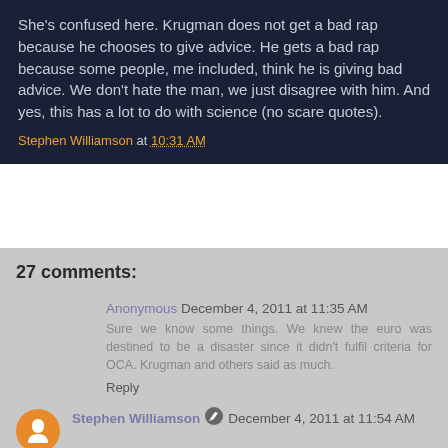She's confused here. Krugman does not get a bad rap because he chooses to give advice. He gets a bad rap because some people, me included, think he is giving bad advice. We don't hate the man, we just disagree with him. And yes, this has a lot to do with science (no scare quotes).
Stephen Williamson at 10:31 AM
27 comments:
Anonymous December 4, 2011 at 11:35 AM
Sure we know some things. We knew the euro was destined to be a disaster since it didn't fulfil criteria for OCA. Krugman and others said as much.
Reply
Stephen Williamson December 4, 2011 at 11:54 AM